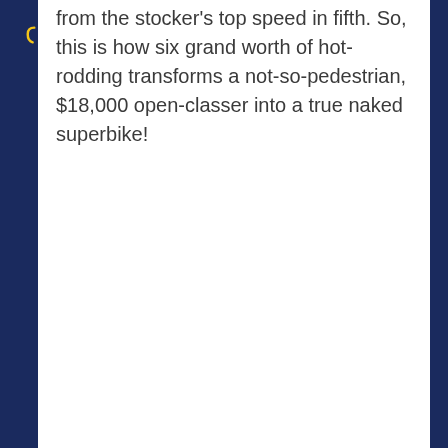from the stocker's top speed in fifth. So, this is how six grand worth of hot-rodding transforms a not-so-pedestrian, $18,000 open-classer into a true naked superbike!